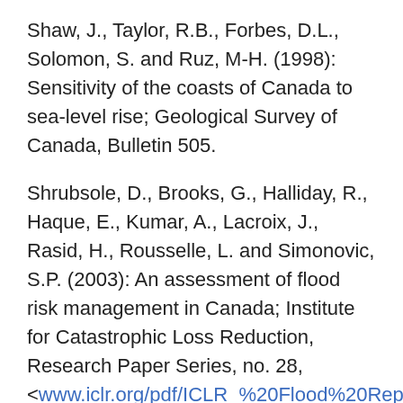Shaw, J., Taylor, R.B., Forbes, D.L., Solomon, S. and Ruz, M-H. (1998): Sensitivity of the coasts of Canada to sea-level rise; Geological Survey of Canada, Bulletin 505.
Shrubsole, D., Brooks, G., Halliday, R., Haque, E., Kumar, A., Lacroix, J., Rasid, H., Rousselle, L. and Simonovic, S.P. (2003): An assessment of flood risk management in Canada; Institute for Catastrophic Loss Reduction, Research Paper Series, no. 28, <www.iclr.org/pdf/ICLR_%20Flood%20Report.p [accessed January 28, 2007].
Simberloff, D. (2000): Global climate change